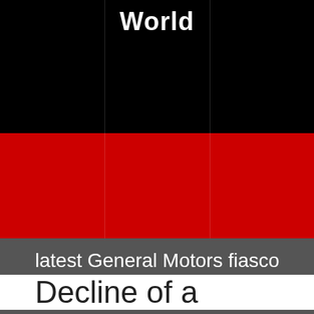World
latest General Motors fiasco
Decline of a